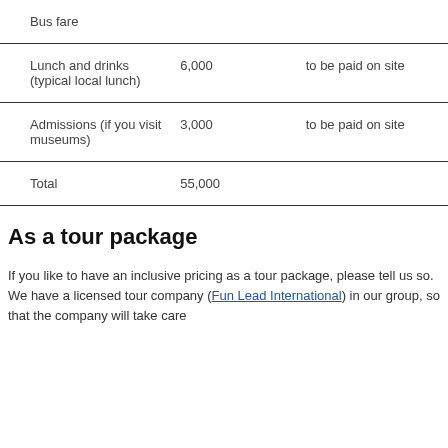| Item | Amount | Note |
| --- | --- | --- |
| Bus fare |  |  |
| Lunch and drinks (typical local lunch) | 6,000 | to be paid on site |
| Admissions (if you visit museums) | 3,000 | to be paid on site |
| Total | 55,000 |  |
As a tour package
If you like to have an inclusive pricing as a tour package, please tell us so. We have a licensed tour company (Fun Lead International) in our group, so that the company will take care